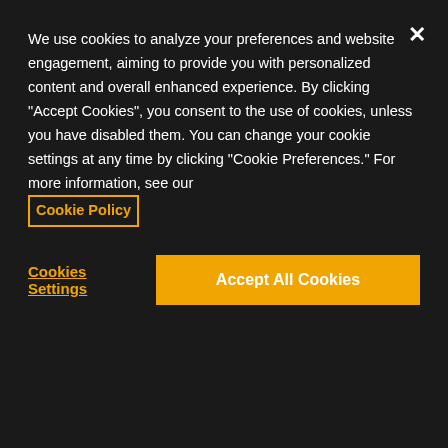We use cookies to analyze your preferences and website engagement, aiming to provide you with personalized content and overall enhanced experience. By clicking "Accept Cookies", you consent to the use of cookies, unless you have disabled them. You can change your cookie settings at any time by clicking "Cookie Preferences." For more information, see our Cookie Policy
Cookies Settings
Accept All Cookies
Advertising cookies : These cookies may be set through our website by our advertising partners. They may be used by those companies to build a profile of your interests and show you relevant adverts on other sites. They do not store directly personal information, but are based on uniquely identifying your browser and internet device. If you do not allow these cookies,